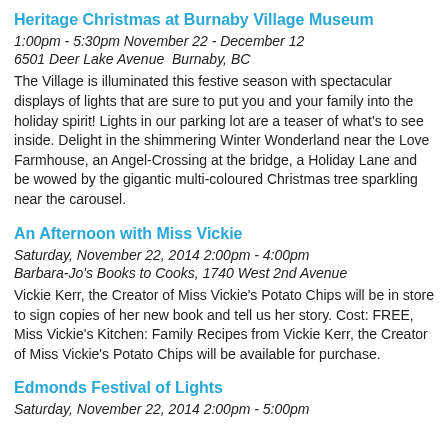Heritage Christmas at Burnaby Village Museum
1:00pm - 5:30pm November 22 - December 12
6501 Deer Lake Avenue  Burnaby, BC
The Village is illuminated this festive season with spectacular displays of lights that are sure to put you and your family into the holiday spirit! Lights in our parking lot are a teaser of what's to see inside. Delight in the shimmering Winter Wonderland near the Love Farmhouse, an Angel-Crossing at the bridge, a Holiday Lane and be wowed by the gigantic multi-coloured Christmas tree sparkling near the carousel.
An Afternoon with Miss Vickie
Saturday, November 22, 2014 2:00pm - 4:00pm
Barbara-Jo's Books to Cooks, 1740 West 2nd Avenue
Vickie Kerr, the Creator of Miss Vickie's Potato Chips will be in store to sign copies of her new book and tell us her story. Cost: FREE, Miss Vickie's Kitchen: Family Recipes from Vickie Kerr, the Creator of Miss Vickie's Potato Chips will be available for purchase.
Edmonds Festival of Lights
Saturday, November 22, 2014 2:00pm - 5:00pm